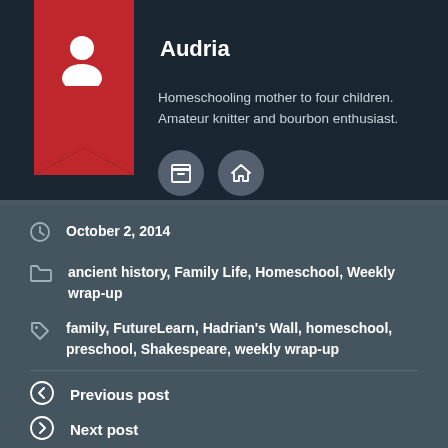Audria
Homeschooling mother to four children. Amateur knitter and bourbon enthusiast.
October 2, 2014
ancient history, Family Life, Homeschool, Weekly wrap-up
family, FutureLearn, Hadrian's Wall, homeschool, preschool, Shakespeare, weekly wrap-up
Previous post
Next post